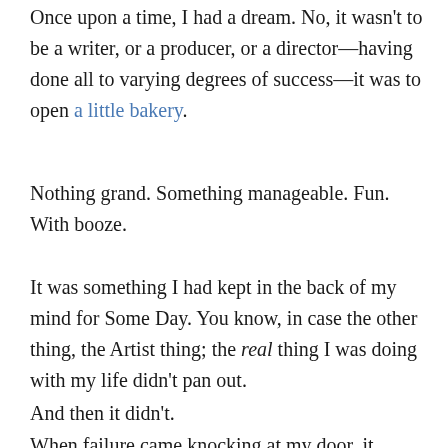Once upon a time, I had a dream. No, it wasn't to be a writer, or a producer, or a director—having done all to varying degrees of success—it was to open a little bakery.
Nothing grand. Something manageable. Fun. With booze.
It was something I had kept in the back of my mind for Some Day. You know, in case the other thing, the Artist thing; the real thing I was doing with my life didn't pan out.
And then it didn't.
When failure came knocking at my door, it